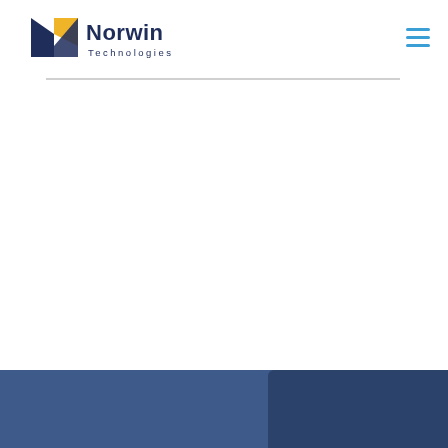[Figure (logo): Norwin Technologies logo: dark navy and yellow geometric N-shape arrow icon on the left, with 'Norwin' in large dark navy bold text and 'Technologies' in smaller spaced dark navy text below on the right]
[Figure (other): Hamburger menu icon (three horizontal blue lines) in top right corner]
[Figure (photo): Bottom portion of the page shows a dark blue banner/footer area with a blurred photographic overlay on the right side — appears to be an industrial or technology-related image in dark blue tones]